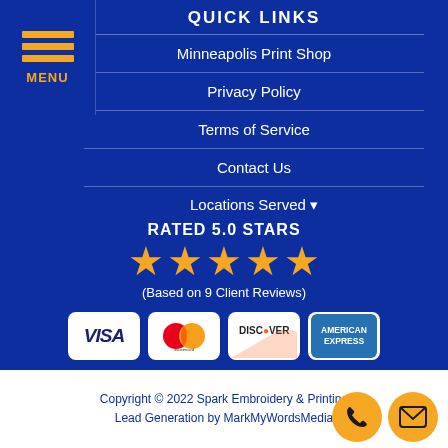QUICK LINKS
Minneapolis Print Shop
Privacy Policy
Terms of Service
Contact Us
Locations Served ▾
RATED 5.0 STARS
(Based on 9 Client Reviews)
[Figure (other): Payment icons: VISA, Mastercard, Discover, American Express]
Copyright © 2022 Spark Embroidery & Printing
Lead Generation by MarkMyWordsMedia